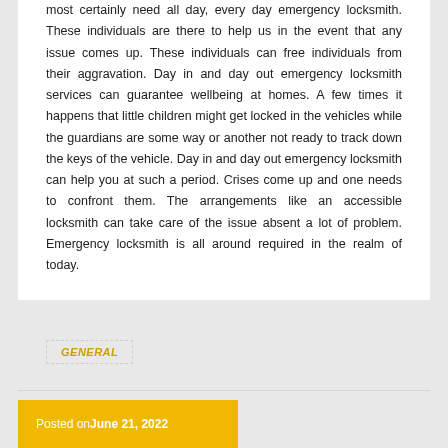most certainly need all day, every day emergency locksmith. These individuals are there to help us in the event that any issue comes up. These individuals can free individuals from their aggravation. Day in and day out emergency locksmith services can guarantee wellbeing at homes. A few times it happens that little children might get locked in the vehicles while the guardians are some way or another not ready to track down the keys of the vehicle. Day in and day out emergency locksmith can help you at such a period. Crises come up and one needs to confront them. The arrangements like an accessible locksmith can take care of the issue absent a lot of problem. Emergency locksmith is all around required in the realm of today.
GENERAL
Posted on June 21, 2022